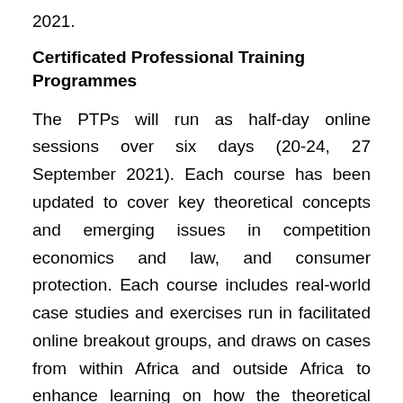2021.
Certificated Professional Training Programmes
The PTPs will run as half-day online sessions over six days (20-24, 27 September 2021). Each course has been updated to cover key theoretical concepts and emerging issues in competition economics and law, and consumer protection. Each course includes real-world case studies and exercises run in facilitated online breakout groups, and draws on cases from within Africa and outside Africa to enhance learning on how the theoretical principles are applied. The PTPs will be taught by the leading international practitioners and academics in the field, including facilitators from CAK and CCRED. PTPs on offer:
1. Competition Economics and Policy